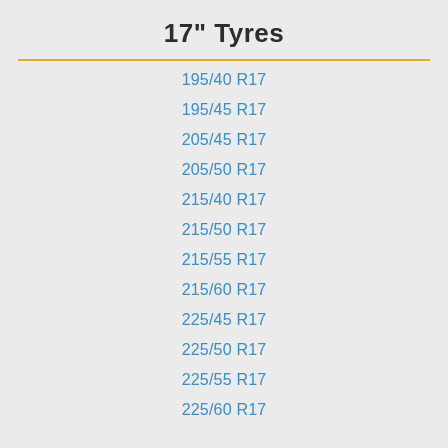17" Tyres
195/40 R17
195/45 R17
205/45 R17
205/50 R17
215/40 R17
215/50 R17
215/55 R17
215/60 R17
225/45 R17
225/50 R17
225/55 R17
225/60 R17